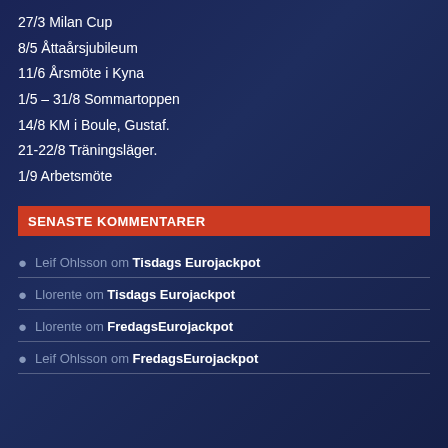27/3 Milan Cup
8/5 Åttaårsjubileum
11/6 Årsmöte i Kyna
1/5 – 31/8 Sommartoppen
14/8 KM i Boule, Gustaf.
21-22/8 Träningsläger.
1/9 Arbetsmöte
SENASTE KOMMENTARER
Leif Ohlsson om Tisdags Eurojackpot
Llorente om Tisdags Eurojackpot
Llorente om FredagsEurojackpot
Leif Ohlsson om FredagsEurojackpot